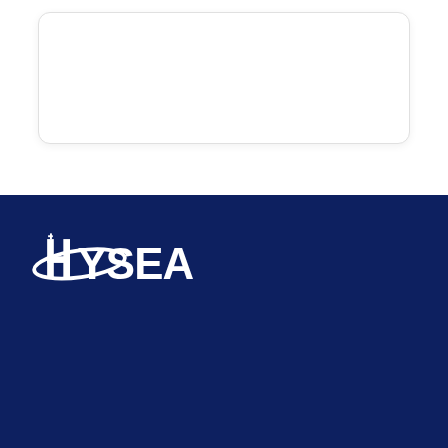[Figure (other): White rounded card box outline on white background]
[Figure (logo): HYSEA logo with stylized text and swoosh on dark navy background]
Synergize.. Innovate... Accelerate....
+91 90300 32711
+91 92465 00952
info@hysea.in